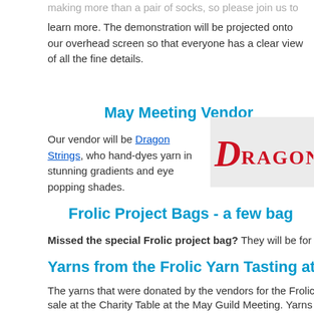making more than a pair of socks, so please join us to learn more. The demonstration will be projected onto our overhead screen so that everyone has a clear view of all the fine details.
May Meeting Vendor
Our vendor will be Dragon Strings, who hand-dyes yarn in stunning gradients and eye popping shades.
[Figure (logo): Dragon Strings logo with stylized red D and text DRAGON in red serif font on light gray background]
Frolic Project Bags - a few bag
Missed the special Frolic project bag? They will be for sale at the
Yarns from the Frolic Yarn Tasting at th
The yarns that were donated by the vendors for the Frolic Yarn Tasti sale at the Charity Table at the May Guild Meeting. Yarns are priced retail. Items include cashmere, silk, Merino, and much, much more.